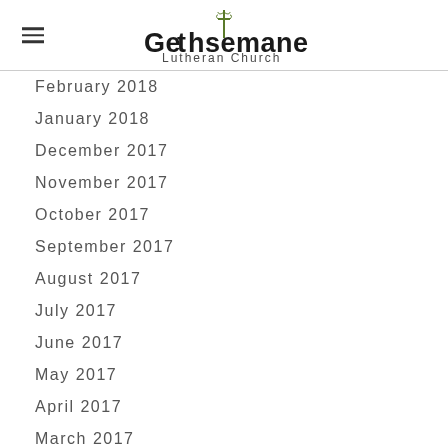Gethsemane Lutheran Church
February 2018
January 2018
December 2017
November 2017
October 2017
September 2017
August 2017
July 2017
June 2017
May 2017
April 2017
March 2017